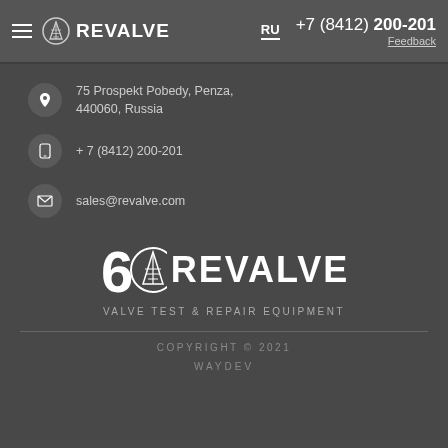RU  +7 (8412) 200-201  Feedback  REVALVE
75 Prospekt Pobedy, Penza, 440060, Russia
+ 7 (8412) 200-201
sales@revalve.com
[Figure (logo): REVALVE logo with 60th anniversary badge and valve icon, white on dark background]
VALVE TEST & REPAIR EQUIPMENT
COPYRIGHT © 2021
WAYDEV